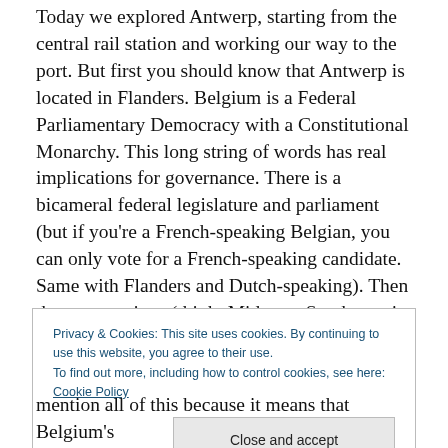Today we explored Antwerp, starting from the central rail station and working our way to the port. But first you should know that Antwerp is located in Flanders. Belgium is a Federal Parliamentary Democracy with a Constitutional Monarchy. This long string of words has real implications for governance. There is a bicameral federal legislature and parliament (but if you're a French-speaking Belgian, you can only vote for a French-speaking candidate. Same with Flanders and Dutch-speaking). Then there are regions (think: Midwest, Southwest in the U.S.). Here it's Flanders, Wallonia and Brussels. On top of
Privacy & Cookies: This site uses cookies. By continuing to use this website, you agree to their use.
To find out more, including how to control cookies, see here: Cookie Policy
mention all of this because it means that Belgium's